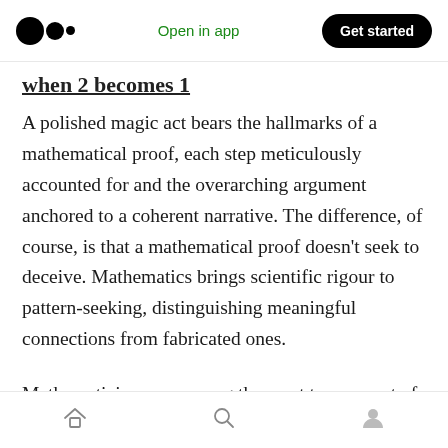Medium logo | Open in app | Get started
when 2 becomes 1
A polished magic act bears the hallmarks of a mathematical proof, each step meticulously accounted for and the overarching argument anchored to a coherent narrative. The difference, of course, is that a mathematical proof doesn’t seek to deceive. Mathematics brings scientific rigour to pattern-seeking, distinguishing meaningful connections from fabricated ones.
Mathematicians are among the most transparent of people. They expose their every assumption
Home | Search | Profile